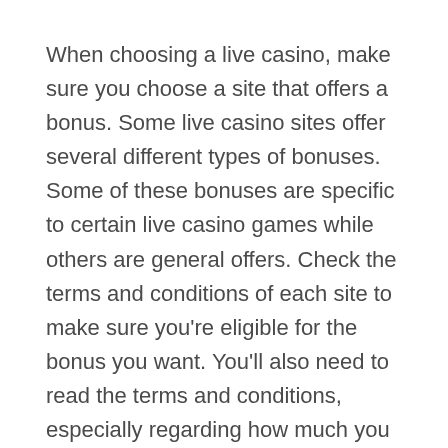When choosing a live casino, make sure you choose a site that offers a bonus. Some live casino sites offer several different types of bonuses. Some of these bonuses are specific to certain live casino games while others are general offers. Check the terms and conditions of each site to make sure you're eligible for the bonus you want. You'll also need to read the terms and conditions, especially regarding how much you have to deposit before receiving any bonuses.
The speed of a live casino site is crucial. A slow site can negatively affect the quality of the